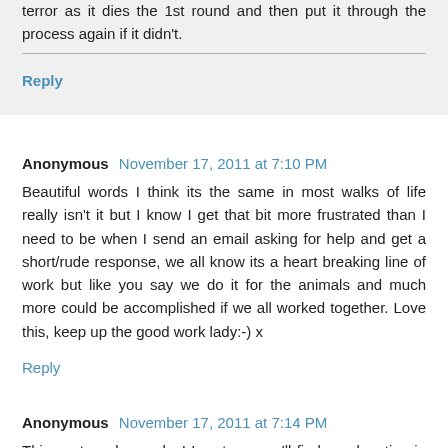terror as it dies the 1st round and then put it through the process again if it didn't.
Reply
Anonymous  November 17, 2011 at 7:10 PM
Beautiful words I think its the same in most walks of life really isn't it but I know I get that bit more frustrated than I need to be when I send an email asking for help and get a short/rude response, we all know its a heart breaking line of work but like you say we do it for the animals and much more could be accomplished if we all worked together. Love this, keep up the good work lady:-) x
Reply
Anonymous  November 17, 2011 at 7:14 PM
This post made my day! In return, you'll find my donation in your inbox. Love you and your work.